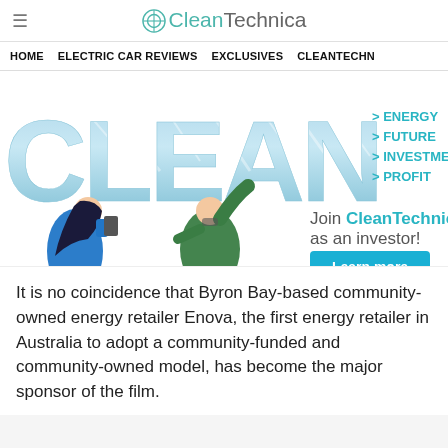CleanTechnica
HOME   ELECTRIC CAR REVIEWS   EXCLUSIVES   CLEANTECHN
[Figure (illustration): CleanTechnica investor banner ad showing large stylized 'CLEAN' text with water/sky texture, two illustrated figures (woman in blue, man in green), and text: '> ENERGY > FUTURE > INVESTMENT > PROFIT', 'Join CleanTechnica as an investor!', and a blue 'Learn more' button.]
It is no coincidence that Byron Bay-based community-owned energy retailer Enova, the first energy retailer in Australia to adopt a community-funded and community-owned model, has become the major sponsor of the film.